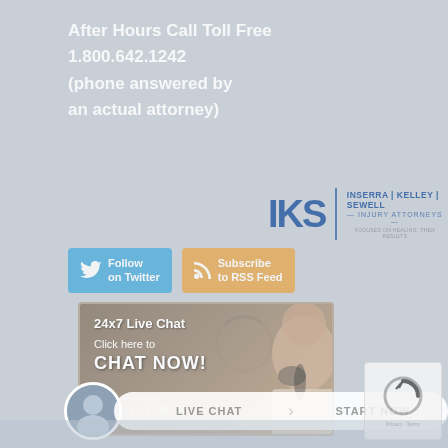After Hours Call Toll Free
1.800.642.1242
(phone answered by
an actual attorney)
[Figure (logo): IKS Inserra Kelley Sewell Injury Attorneys logo with blue text]
[Figure (illustration): Twitter Follow on Twitter button (blue)]
[Figure (illustration): Subscribe to RSS Feed button (orange)]
[Figure (illustration): Loading spinner circle]
[Figure (illustration): 24x7 Live Chat banner - Click here to CHAT NOW! ONLINE with headset operator photo]
[Figure (illustration): Live Chat Start Now pill bar with attorney avatar]
[Figure (illustration): reCAPTCHA Privacy + Terms box]